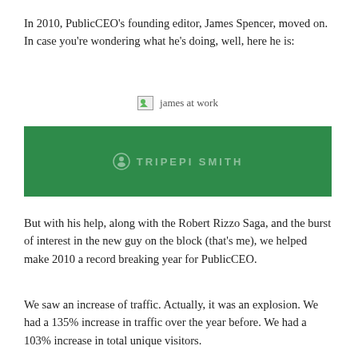In 2010, PublicCEO's founding editor, James Spencer, moved on. In case you're wondering what he's doing, well, here he is:
[Figure (photo): Broken image placeholder labeled 'james at work']
[Figure (logo): Green banner with Tripepi Smith logo and text]
But with his help, along with the Robert Rizzo Saga, and the burst of interest in the new guy on the block (that's me), we helped make 2010 a record breaking year for PublicCEO.
We saw an increase of traffic. Actually, it was an explosion. We had a 135% increase in traffic over the year before. We had a 103% increase in total unique visitors.